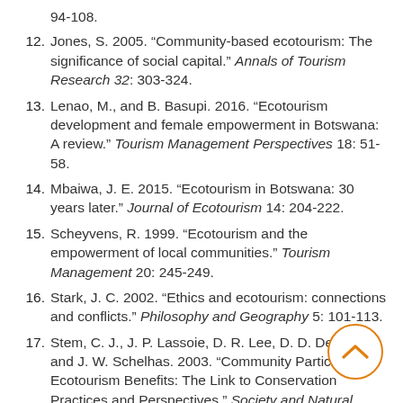94-108.
12. Jones, S. 2005. “Community-based ecotourism: The significance of social capital.” Annals of Tourism Research 32: 303-324.
13. Lenao, M., and B. Basupi. 2016. “Ecotourism development and female empowerment in Botswana: A review.” Tourism Management Perspectives 18: 51-58.
14. Mbaiwa, J. E. 2015. “Ecotourism in Botswana: 30 years later.” Journal of Ecotourism 14: 204-222.
15. Scheyvens, R. 1999. “Ecotourism and the empowerment of local communities.” Tourism Management 20: 245-249.
16. Stark, J. C. 2002. “Ethics and ecotourism: connections and conflicts.” Philosophy and Geography 5: 101-113.
17. Stem, C. J., J. P. Lassoie, D. R. Lee, D. D. Deshler, and J. W. Schelhas. 2003. “Community Participation, Ecotourism Benefits: The Link to Conservation Practices and Perspectives.” Society and Natural...